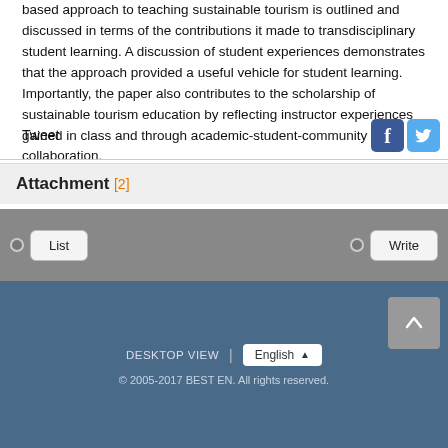based approach to teaching sustainable tourism is outlined and discussed in terms of the contributions it made to transdisciplinary student learning. A discussion of student experiences demonstrates that the approach provided a useful vehicle for student learning. Importantly, the paper also contributes to the scholarship of sustainable tourism education by reflecting instructor experiences gained in class and through academic-student-community collaboration.
Tweet
[Figure (logo): Facebook and Twitter social media share icons]
Attachment [2]
List    Write
DESKTOP VIEW | English © 2005-2017 BEST EN. All rights reserved.